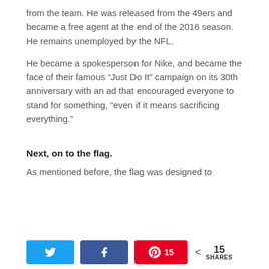from the team. He was released from the 49ers and became a free agent at the end of the 2016 season. He remains unemployed by the NFL.
He became a spokesperson for Nike, and became the face of their famous “Just Do It” campaign on its 30th anniversary with an ad that encouraged everyone to stand for something, “even if it means sacrificing everything.”
Next, on to the flag.
As mentioned before, the flag was designed to